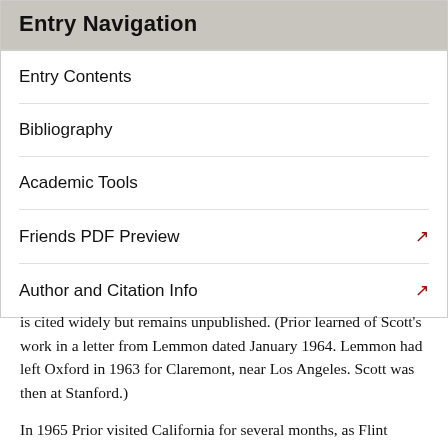Entry Navigation
Entry Contents
Bibliography
Academic Tools
Friends PDF Preview
Author and Citation Info
is cited widely but remains unpublished. (Prior learned of Scott's work in a letter from Lemmon dated January 1964. Lemmon had left Oxford in 1963 for Claremont, near Los Angeles. Scott was then at Stanford.)
In 1965 Prior visited California for several months, as Flint Professor of Philosophy at UCLA. For the first time Prior found himself among a group of enthusiasts for tense logic. Shortly after the visit ended he was to write: ‘I suppose that California is the most logically mature place in the world, and now that the logic of tenses is pursued so widely and so vigorously there, its raw